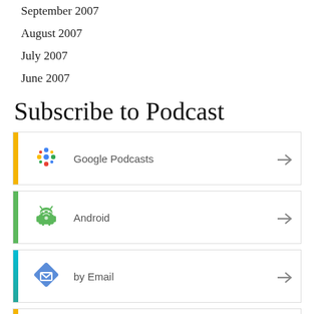September 2007
August 2007
July 2007
June 2007
Subscribe to Podcast
[Figure (infographic): Google Podcasts subscription link card with icon and arrow]
[Figure (infographic): Android subscription link card with icon and arrow]
[Figure (infographic): by Email subscription link card with icon and arrow]
[Figure (infographic): Fourth subscription option card (partial, orange bar visible)]